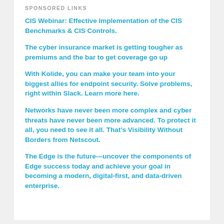SPONSORED LINKS
CIS Webinar: Effective Implementation of the CIS Benchmarks & CIS Controls.
The cyber insurance market is getting tougher as premiums and the bar to get coverage go up
With Kolide, you can make your team into your biggest allies for endpoint security. Solve problems, right within Slack. Learn more here.
Networks have never been more complex and cyber threats have never been more advanced. To protect it all, you need to see it all. That’s Visibility Without Borders from Netscout.
The Edge is the future—uncover the components of Edge success today and achieve your goal in becoming a modern, digital-first, and data-driven enterprise.